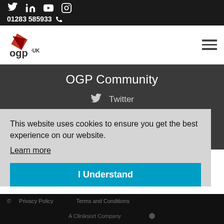01283 585933
[Figure (logo): OGP UK logo with red graphic element]
OGP Community
Twitter
LinkedIn
Youtube
This website uses cookies to ensure you get the best experience on our website.
Learn more
I Understand
Privacy Policy   Terms and Conditions
A Cliniksort Company